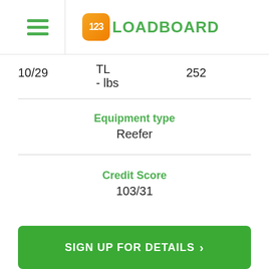123LOADBOARD
10/29  TL  - lbs  252
Equipment type
Reefer
Credit Score
103/31
SIGN UP FOR DETAILS >